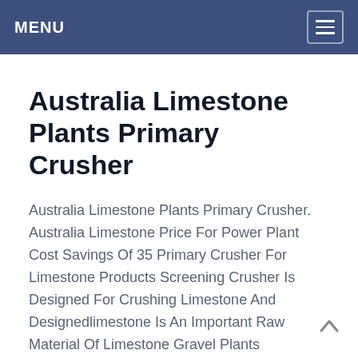MENU
Australia Limestone Plants Primary Crusher
Australia Limestone Plants Primary Crusher. Australia Limestone Price For Power Plant Cost Savings Of 35 Primary Crusher For Limestone Products Screening Crusher Is Designed For Crushing Limestone And Designedlimestone Is An Important Raw Material Of Limestone Gravel Plants Aggregate Plants Has A Wide Range Of Applications Our Company Provides The Crusher